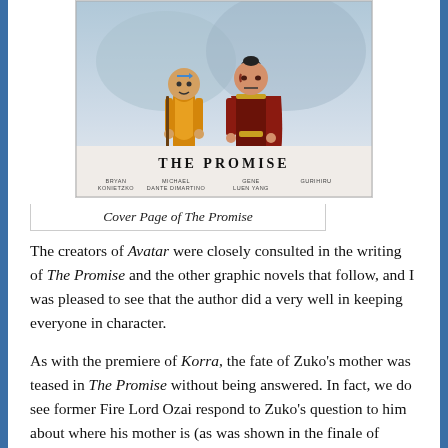[Figure (illustration): Cover page of The Promise graphic novel showing two characters (Aang and Zuko) standing together. Title reads 'THE PROMISE'. Credits list Bryan Konietzko, Michael Dante DiMartino, Gene Luen Yang, Gurihiru.]
Cover Page of The Promise
The creators of Avatar were closely consulted in the writing of The Promise and the other graphic novels that follow, and I was pleased to see that the author did a very well in keeping everyone in character.
As with the premiere of Korra, the fate of Zuko's mother was teased in The Promise without being answered. In fact, we do see former Fire Lord Ozai respond to Zuko's question to him about where his mother is (as was shown in the finale of Avatar) without revealing her fate.
The Promise did close, however, with the promise that the